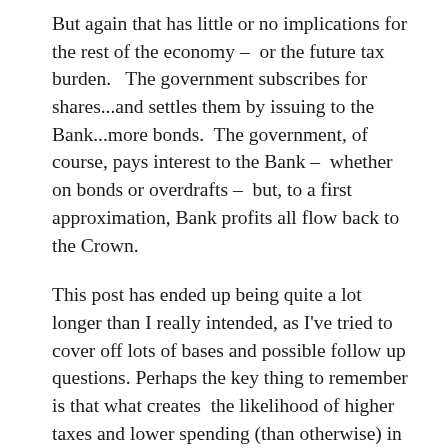But again that has little or no implications for the rest of the economy – or the future tax burden.   The government subscribes for shares...and settles them by issuing to the Bank...more bonds.  The government, of course, pays interest to the Bank – whether on bonds or overdrafts – but, to a first approximation, Bank profits all flow back to the Crown.
This post has ended up being quite a lot longer than I really intended, as I've tried to cover off lots of bases and possible follow up questions. Perhaps the key thing to remember is that what creates  the likelihood of higher taxes and lower spending (than otherwise) in future is unexpected/unscheduled fiscal deficits now.